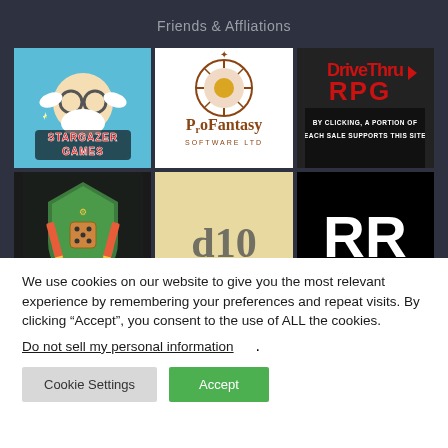Friends & Affliations
[Figure (logo): Stargazer Games logo - cartoon wizard with glasses and white beard on blue circle background]
[Figure (logo): ProFantasy Software Ltd logo - ornate compass/medallion design above text]
[Figure (logo): DriveThru RPG logo - red and white stylized text on dark background with text 'By clicking, a portion of each sale supports this site']
[Figure (logo): Shield logo with pencil and dice design on green shield background]
[Figure (logo): Partial logo on cream/tan background with dark numbers/text]
[Figure (logo): Large white 'RR' letters on black background]
We use cookies on our website to give you the most relevant experience by remembering your preferences and repeat visits. By clicking “Accept”, you consent to the use of ALL the cookies.
Do not sell my personal information.